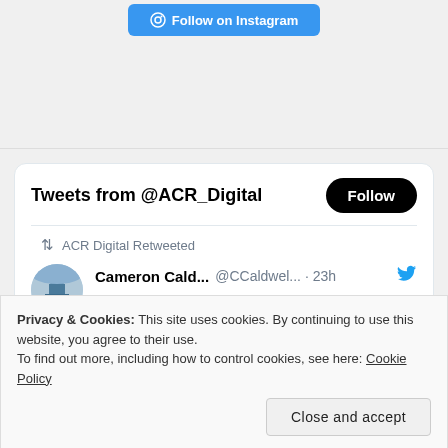[Figure (screenshot): Blue 'Follow on Instagram' button at top of page]
[Figure (screenshot): Twitter widget showing 'Tweets from @ACR_Digital' with a Follow button, a retweet by ACR Digital from Cameron Cald... @CCaldwel... · 23h with text 'This picture sums up about how I'm feeling about tonight']
Privacy & Cookies: This site uses cookies. By continuing to use this website, you agree to their use.
To find out more, including how to control cookies, see here: Cookie Policy